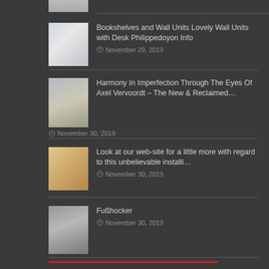[Figure (photo): Partial thumbnail image at top of page]
Bookshelves and Wall Units Lovely Wall Units with Desk Philippedoyon Info
November 29, 2019
Harmony In Imperfection Through The Eyes Of Axel Vervoordt – The New & Reclaimed…
November 30, 2019
Look at our web-site for a little more with regard to this unbelievable installi…
November 30, 2019
Fußhocker
November 30, 2019